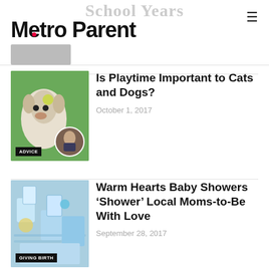Metro Parent
[Figure (screenshot): Partially visible article header image with text 'School Years' in gray]
[Figure (photo): Dog jumping with tennis ball in mouth, with circular inset of a veterinarian, labeled ADVICE]
Is Playtime Important to Cats and Dogs?
October 1, 2017
[Figure (photo): Baby shower decorations in blue tones, labeled GIVING BIRTH]
Warm Hearts Baby Showers ‘Shower’ Local Moms-to-Be With Love
September 28, 2017